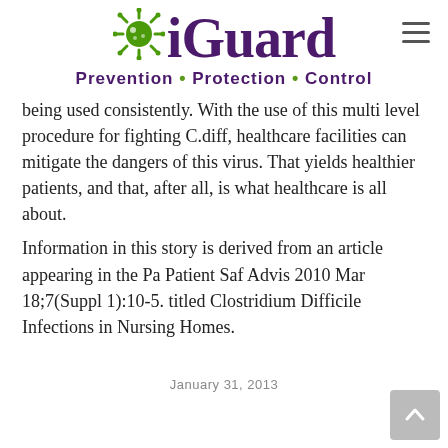[Figure (logo): iGuard logo with green virus icon and purple text 'iGuard' and tagline 'Prevention • Protection • Control']
being used consistently. With the use of this multi level procedure for fighting C.diff, healthcare facilities can mitigate the dangers of this virus. That yields healthier patients, and that, after all, is what healthcare is all about.
Information in this story is derived from an article appearing in the Pa Patient Saf Advis 2010 Mar 18;7(Suppl 1):10-5. titled Clostridium Difficile Infections in Nursing Homes.
January 31, 2013